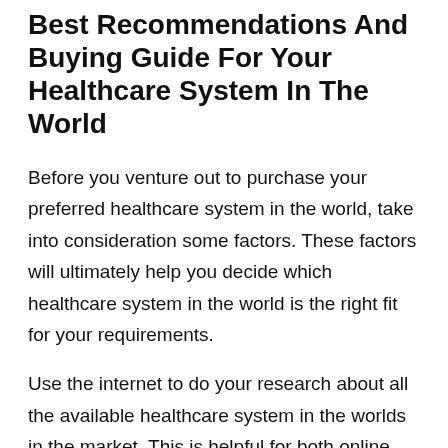Best Recommendations And Buying Guide For Your Healthcare System In The World
Before you venture out to purchase your preferred healthcare system in the world, take into consideration some factors. These factors will ultimately help you decide which healthcare system in the world is the right fit for your requirements.
Use the internet to do your research about all the available healthcare system in the worlds in the market. This is helpful for both online and retail/ in-person purchases. If you are buying from an online